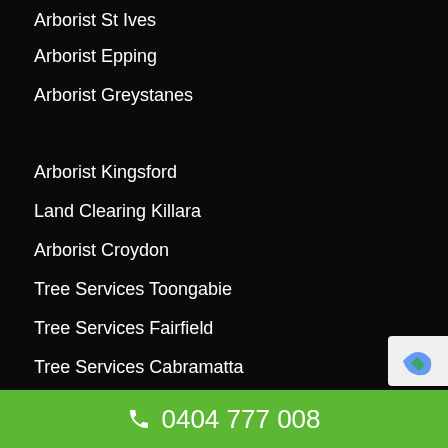Arborist St Ives
Arborist Epping
Arborist Greystanes
Arborist Kingsford
Land Clearing Killara
Arborist Croydon
Tree Services Toongabie
Tree Services Fairfield
Tree Services Cabramatta
Arborist Lane Cove
0404 777 008